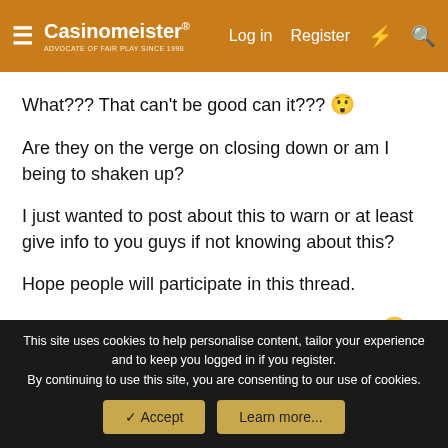Casinomeister® — Advocate of Fair Play Since 1998 | Log in | Register
What??? That can't be good can it??? 😲
Are they on the verge on closing down or am I being to shaken up?
I just wanted to post about this to warn or at least give info to you guys if not knowing about this?
Hope people will participate in this thread.
Maybe some of you know more than me ??? 🙂👍
Slotster!
This site uses cookies to help personalise content, tailor your experience and to keep you logged in if you register. By continuing to use this site, you are consenting to our use of cookies.